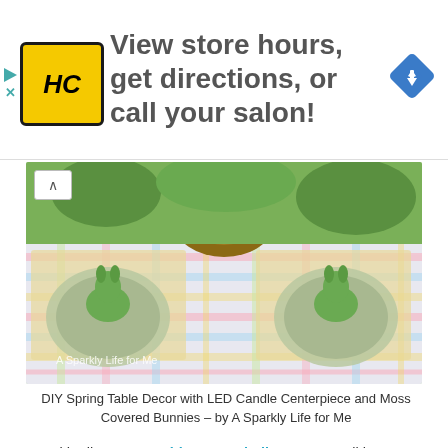[Figure (screenshot): HC salon ad banner with yellow HC logo, text 'View store hours, get directions, or call your salon!' and blue navigation diamond icon]
[Figure (photo): Easter spring table setting with colorful plaid tablecloth, green moss bunny decorations on plates, and a wicker centerpiece. Watermark: 'A Sparkly Life for Me']
DIY Spring Table Decor with LED Candle Centerpiece and Moss Covered Bunnies – by A Sparkly Life for Me
As with all my 2017 tablescape challenge posts I'll be sharing exactly where I got everything (and how much it cost!) down below, but I want to share these particular pictures with you, because pretty much everything you see – came from the thrift store. Yup, the thrift store! Even as the sun sets, the table still looks bright and colorful, especially when the candles turn on,